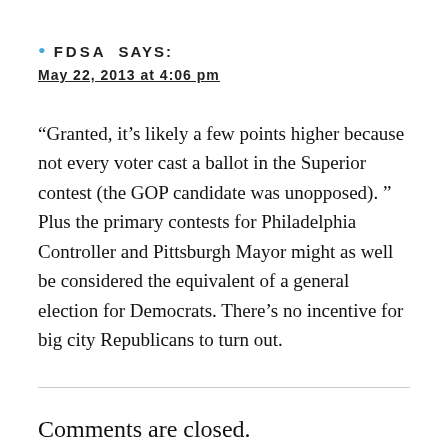FDSA SAYS:
May 22, 2013 at 4:06 pm
“Granted, it’s likely a few points higher because not every voter cast a ballot in the Superior contest (the GOP candidate was unopposed). ” Plus the primary contests for Philadelphia Controller and Pittsburgh Mayor might as well be considered the equivalent of a general election for Democrats. There’s no incentive for big city Republicans to turn out.
Comments are closed.